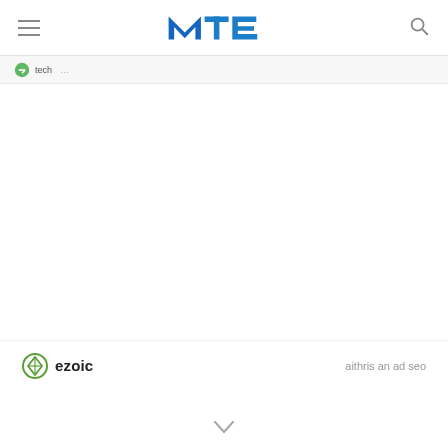MTE (logo)
[Figure (logo): MTE logo in blue with stylized M, T, E letters]
[Figure (logo): Ezoic logo with green circle icon and bold 'ezoic' text]
aithris an ad seo